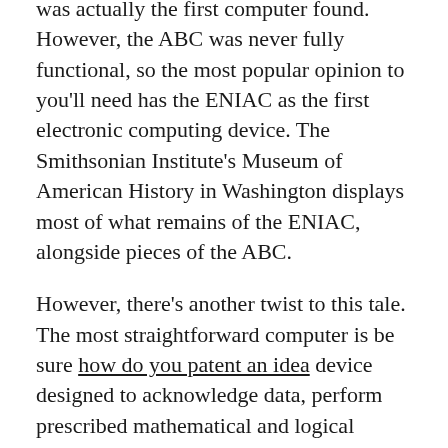was actually the first computer found. However, the ABC was never fully functional, so the most popular opinion to you'll need has the ENIAC as the first electronic computing device. The Smithsonian Institute's Museum of American History in Washington displays most of what remains of the ENIAC, alongside pieces of the ABC.
However, there's another twist to this tale. The most straightforward computer is be sure how do you patent an idea device designed to acknowledge data, perform prescribed mathematical and logical operations and display the results. Germany's Konrad Zuse created what was basically the first programmable calculator in the mid-1930s in his parent's living room. Zuse's Z1 had 64-word memory and time speed of 1 Hz. Programming the the Z1 required the user to insert tape to be able to punch tape reader and then receive his results via a punch